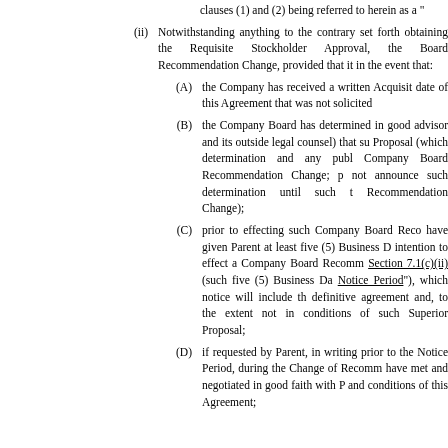clauses (1) and (2) being referred to herein as a “
(ii) Notwithstanding anything to the contrary set forth in obtaining the Requisite Stockholder Approval, the Board Recommendation Change, provided that it in the event that:
(A) the Company has received a written Acquisit date of this Agreement that was not solicited
(B) the Company Board has determined in good advisor and its outside legal counsel) that su Proposal (which determination and any publ Company Board Recommendation Change; p not announce such determination until such t Recommendation Change);
(C) prior to effecting such Company Board Reco have given Parent at least five (5) Business D intention to effect a Company Board Recomm Section 7.1(c)(ii) (such five (5) Business Da Notice Period”), which notice will include th definitive agreement and, to the extent not in conditions of such Superior Proposal;
(D) if requested by Parent, in writing prior to the Notice Period, during the Change of Recomm have met and negotiated in good faith with P and conditions of this Agreement;